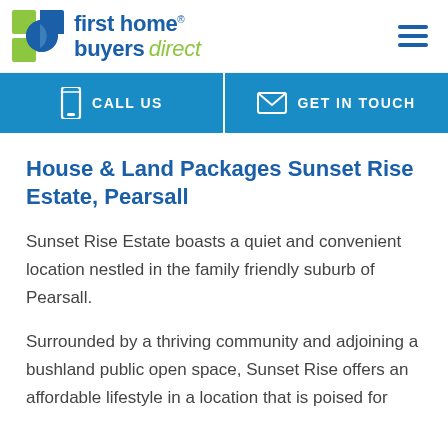[Figure (logo): First Home Buyers Direct logo with green and blue quadrant icon and company name]
[Figure (infographic): Blue navigation bar with phone icon CALL US on left and envelope icon GET IN TOUCH on right]
House & Land Packages Sunset Rise Estate, Pearsall
Sunset Rise Estate boasts a quiet and convenient location nestled in the family friendly suburb of Pearsall.
Surrounded by a thriving community and adjoining a bushland public open space, Sunset Rise offers an affordable lifestyle in a location that is poised for